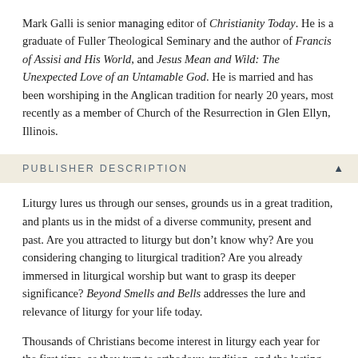Mark Galli is senior managing editor of Christianity Today. He is a graduate of Fuller Theological Seminary and the author of Francis of Assisi and His World, and Jesus Mean and Wild: The Unexpected Love of an Untamable God. He is married and has been worshiping in the Anglican tradition for nearly 20 years, most recently as a member of Church of the Resurrection in Glen Ellyn, Illinois.
PUBLISHER DESCRIPTION
Liturgy lures us through our senses, grounds us in a great tradition, and plants us in the midst of a diverse community, present and past. Are you attracted to liturgy but don’t know why? Are you considering changing to liturgical tradition? Are you already immersed in liturgical worship but want to grasp its deeper significance? Beyond Smells and Bells addresses the lure and relevance of liturgy for your life today.
Thousands of Christians become interest in liturgy each year for the first time, as they turn to orthodoxy, tradition, and the lasting rituals of the Christian faith. In a culture that values spontaneity, liturgy grounds us in something enduring. In a culture that assumes truth is a product of the mind, liturgy helps us experience truth in mind, body, and spirit. In Mark Galli's able telling, liturgy is an intruguing story, full of mystery, that